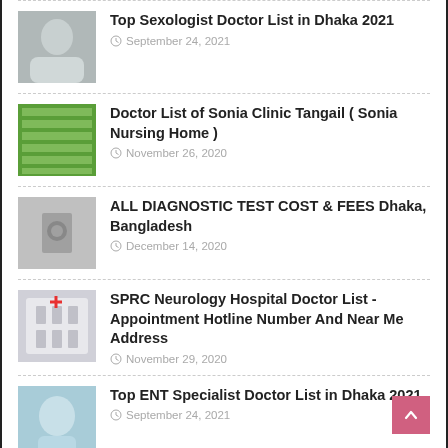Top Sexologist Doctor List in Dhaka 2021 September 24, 2021
Doctor List of Sonia Clinic Tangail ( Sonia Nursing Home ) November 26, 2020
ALL DIAGNOSTIC TEST COST & FEES Dhaka, Bangladesh December 14, 2020
SPRC Neurology Hospital Doctor List - Appointment Hotline Number And Near Me Address November 29, 2020
Top ENT Specialist Doctor List in Dhaka 2021 September 24, 2021
Doctor List of Digilab Kishoreganj November 30, 2020
Top Pulmonologist Doctor List in Dhaka 2021